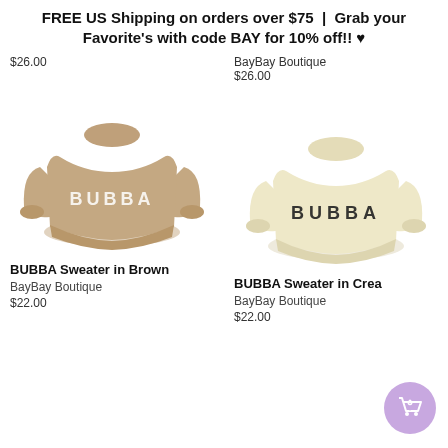FREE US Shipping on orders over $75 | Grab your Favorite's with code BAY for 10% off!! ♥
$26.00
BayBay Boutique
$26.00
[Figure (photo): BUBBA Sweater in brown/tan color with white BUBBA text on front]
[Figure (photo): BUBBA Sweater in cream/off-white color with dark BUBBA text on front]
BUBBA Sweater in Brown
BayBay Boutique
$22.00
BUBBA Sweater in Crea...
BayBay Boutique
$22.00